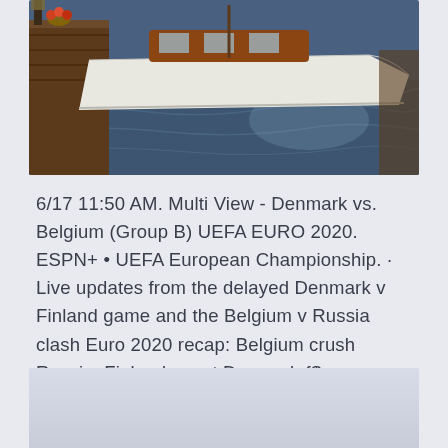[Figure (photo): A boat docked at a wooden pier on calm water, viewed from above slightly. Boats moored alongside a dock with water and reflections visible.]
6/17 11:50 AM. Multi View - Denmark vs. Belgium (Group B) UEFA EURO 2020. ESPN+ • UEFA European Championship. · Live updates from the delayed Denmark v Finland game and the Belgium v Russia clash Euro 2020 recap: Belgium crush Russia; Finland upset Denmark {$ post.headline $} {$ post.time $} · Share All sharing options for: Euro 2020/1, Day 2: Wales vs.
[Figure (photo): Bottom portion of a light blue/grey image, partially cut off at the bottom of the page.]